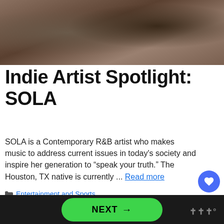[Figure (photo): Close-up photo of a woman with braided hair, upper portion visible]
Indie Artist Spotlight: SOLA
SOLA is a Contemporary R&B artist who makes music to address current issues in today's society and inspire her generation to “speak your truth.” The Houston, TX native is currently ... Read more
Entertainment and Sports
[Figure (photo): Photo of a young man looking at the camera, dark background with green foliage]